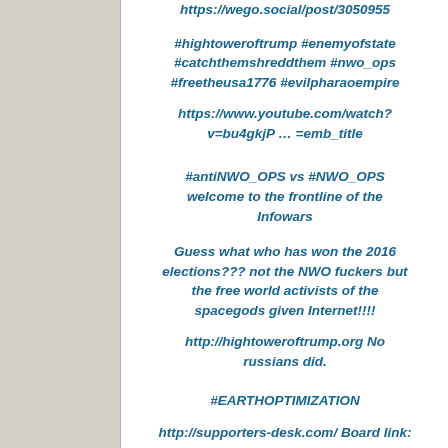https://wego.social/post/3050955
#hightoweroftrump #enemyofstate #catchthemshreddthem #nwo_ops #freetheusa1776 #evilpharaoempire
https://www.youtube.com/watch?v=bu4gkjP … =emb_title
#antiNWO_OPS vs #NWO_OPS welcome to the frontline of the Infowars
Guess what who has won the 2016 elections??? not the NWO fuckers but the free world activists of the spacegods given Internet!!!!
http://hightoweroftrump.org No russians did.
#EARTHOPTIMIZATION
http://supporters-desk.com/ Board link: Forum